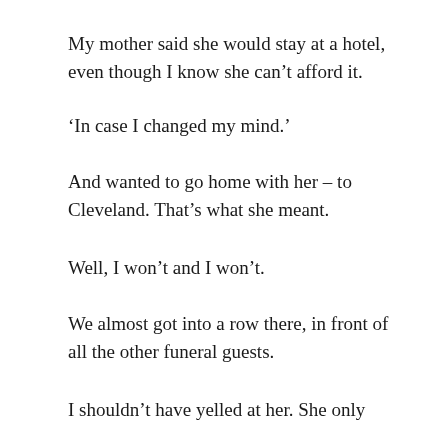My mother said she would stay at a hotel, even though I know she can't afford it.
‘In case I changed my mind.’
And wanted to go home with her – to Cleveland. That’s what she meant.
Well, I won’t and I won’t.
We almost got into a row there, in front of all the other funeral guests.
I shouldn’t have yelled at her. She only